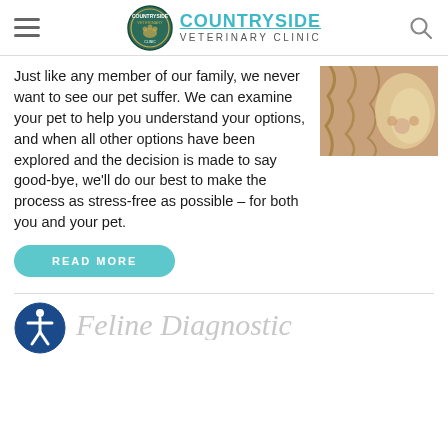COUNTRYSIDE VETERINARY CLINIC
Just like any member of our family, we never want to see our pet suffer. We can examine your pet to help you understand your options, and when all other options have been explored and the decision is made to say good-bye, we'll do our best to make the process as stress-free as possible – for both you and your pet.
[Figure (photo): Close-up photo of a cat's paw and fur]
READ MORE
Feline Diagnostic